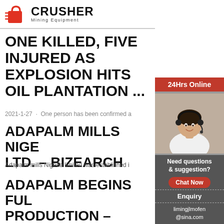[Figure (logo): Crusher Mining Equipment logo with red shopping bag icon and bold black CRUSHER text]
ONE KILLED, FIVE INJURED AS EXPLOSION HITS OIL PLANTATION ...
2021-1-27 · One person has been confirmed a
ADAPALM MILLS NIGER LTD. – BIZEARCH
Adapalm mills Nigeria limited was established i
ADAPALM BEGINS FUL PRODUCTION – NIGER INVESTMENT ...
[Figure (infographic): Sidebar advertisement: 24Hrs Online banner in red, photo of woman with headset, Need questions & suggestion? text, Chat Now button, Enquiry section, limingjlmofen@sina.com email]